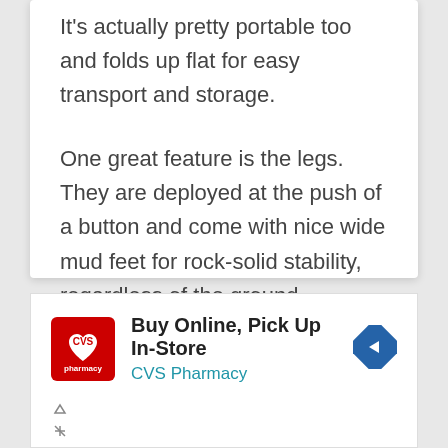It's actually pretty portable too and folds up flat for easy transport and storage.
One great feature is the legs. They are deployed at the push of a button and come with nice wide mud feet for rock-solid stability, regardless of the ground underneath.
CHECK LATEST PRICE
[Figure (other): CVS Pharmacy advertisement banner with logo, 'Buy Online, Pick Up In-Store' headline, CVS Pharmacy subtext, and a blue diamond directional arrow icon.]